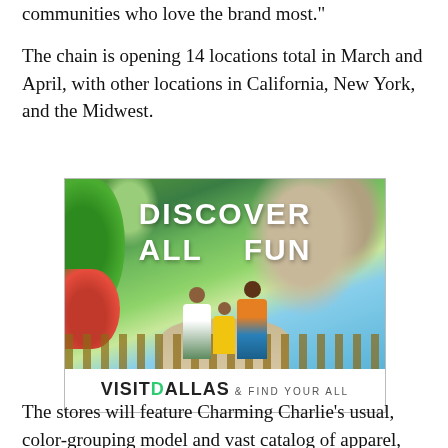communities who love the brand most."
The chain is opening 14 locations total in March and April, with other locations in California, New York, and the Midwest.
[Figure (photo): Visit Dallas advertisement showing a family (woman, child, man) walking at what appears to be a zoo or park, with text 'DISCOVER ALL FUN' overlaid, and 'VISITDALLAS & FIND YOUR ALL' below.]
The stores will feature Charming Charlie's usual, color-grouping model and vast catalog of apparel, handbags